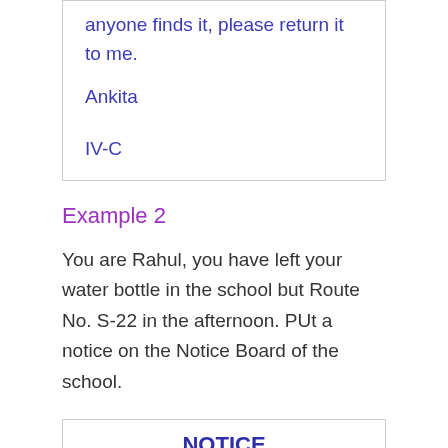anyone finds it, please return it to me.
Ankita
IV-C
Example 2
You are Rahul, you have left your water bottle in the school but Route No. S-22 in the afternoon. PUt a notice on the Notice Board of the school.
NOTICE